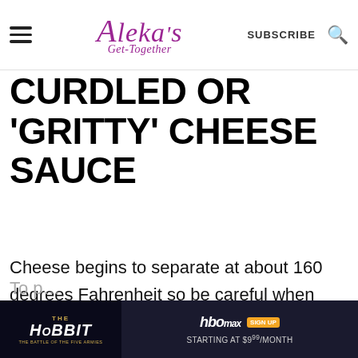Aleka's Get-Together — SUBSCRIBE
CURDLED OR 'GRITTY' CHEESE SAUCE
Cheese begins to separate at about 160 degrees Fahrenheit so be careful when making your sauce! It is a low and slow process!
[Figure (screenshot): Advertisement banner for The Hobbit: The Battle of the Five Armies on HBO Max, SIGN UP STARTING AT $9.99/MONTH]